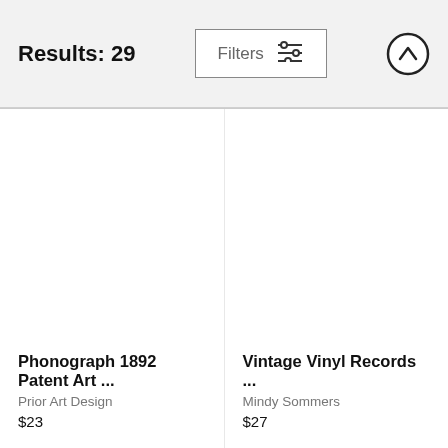Results: 29
[Figure (screenshot): Filters button with sliders icon]
[Figure (screenshot): Up arrow circle button]
[Figure (photo): Product image placeholder for Phonograph 1892 Patent Art]
Phonograph 1892 Patent Art ...
Prior Art Design
$23
[Figure (photo): Product image placeholder for Vintage Vinyl Records]
Vintage Vinyl Records ...
Mindy Sommers
$27